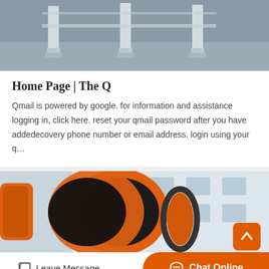[Figure (photo): Industrial equipment photo showing metal frames/supports on a concrete surface]
Home Page | The Q
Qmail is powered by google. for information and assistance logging in, click here. reset your qmail password after you have addedecovery phone number or email address. login using your q…
Get Price  >
[Figure (photo): Large orange industrial rotary drum/cylinder machine in front of a factory building]
Leave Message
Chat Online